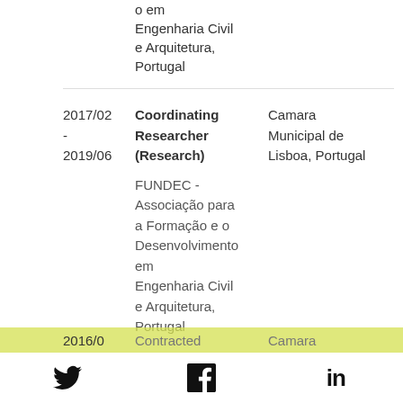| Date | Role | Organization | Location |
| --- | --- | --- | --- |
|  | Desenvolvimento em Engenharia Civil e Arquitetura, Portugal |  |  |
| 2017/02 - 2019/06 | Coordinating Researcher (Research) | FUNDEC - Associação para a Formação e o Desenvolvimento em Engenharia Civil e Arquitetura, Portugal | Camara Municipal de Lisboa, Portugal |
| 2016/0... | Contracted | Camara |  |
Twitter | Facebook | LinkedIn